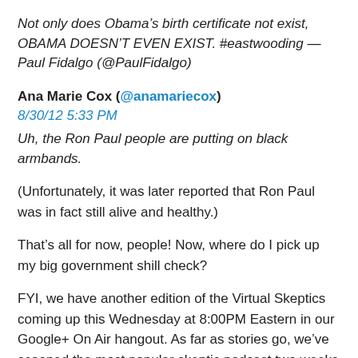Not only does Obama's birth certificate not exist, OBAMA DOESN'T EVEN EXIST. #eastwooding — Paul Fidalgo (@PaulFidalgo)
Ana Marie Cox (@anamariecox)
8/30/12 5:33 PM
Uh, the Ron Paul people are putting on black armbands.
(Unfortunately, it was later reported that Ron Paul was in fact still alive and healthy.)
That's all for now, people! Now, where do I pick up my big government shill check?
FYI, we have another edition of the Virtual Skeptics coming up this Wednesday at 8:00PM Eastern in our Google+ On Air hangout. As far as stories go, we've scooped the most popular skeptic podcast two weeks in a